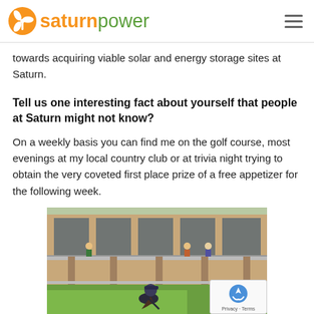saturnpower
towards acquiring viable solar and energy storage sites at Saturn.
Tell us one interesting fact about yourself that people at Saturn might not know?
On a weekly basis you can find me on the golf course, most evenings at my local country club or at trivia night trying to obtain the very coveted first place prize of a free appetizer for the following week.
[Figure (photo): Person playing golf on a course near a brick building with a balcony and spectators watching.]